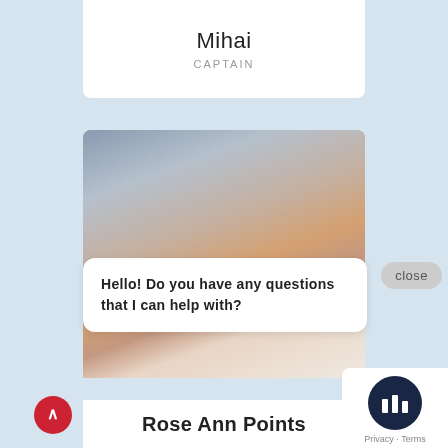Mihai
CAPTAIN
[Figure (photo): Photo of a woman with long brown hair, smiling, wearing a white sleeveless top, with sailboat masts visible in the background]
close
Hello! Do you have any questions that I can help with?
Rose Ann Points
[Figure (logo): Chat widget icon: dark navy circle with three white vertical bar chart-like bars, with Privacy · Terms text below]